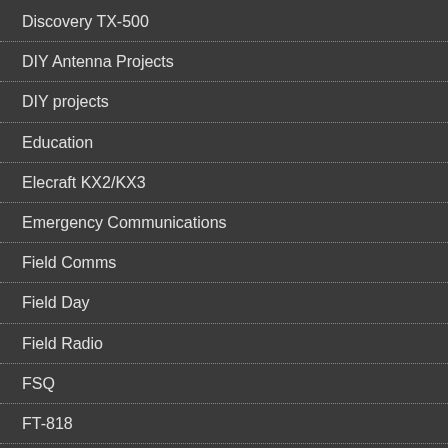Discovery TX-500
DIY Antenna Projects
DIY projects
Education
Elecraft KX2/KX3
Emergency Communications
Field Comms
Field Day
Field Radio
FSQ
FT-818
FT8
FT8Call
gear weight